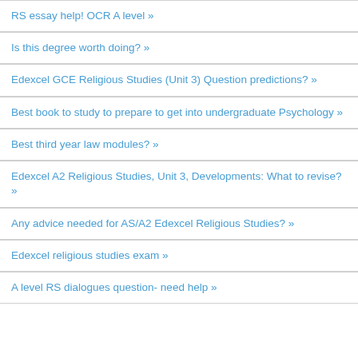RS essay help! OCR A level »
Is this degree worth doing? »
Edexcel GCE Religious Studies (Unit 3) Question predictions? »
Best book to study to prepare to get into undergraduate Psychology »
Best third year law modules? »
Edexcel A2 Religious Studies, Unit 3, Developments: What to revise? »
Any advice needed for AS/A2 Edexcel Religious Studies? »
Edexcel religious studies exam »
A level RS dialogues question- need help »